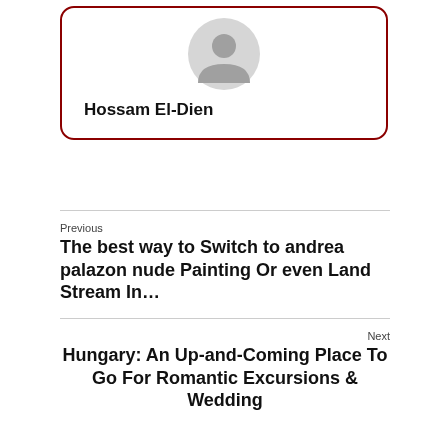[Figure (illustration): Default user avatar icon — grey circle with person silhouette]
Hossam El-Dien
Previous
The best way to Switch to andrea palazon nude Painting Or even Land Stream In…
Next
Hungary: An Up-and-Coming Place To Go For Romantic Excursions & Wedding